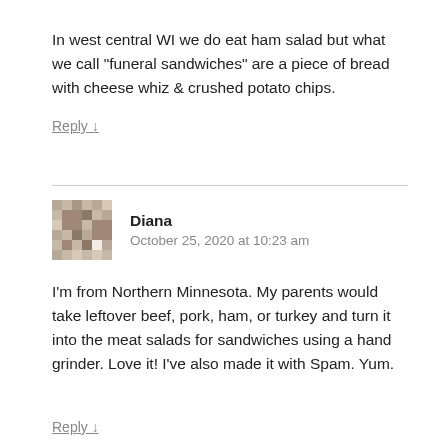In west central WI we do eat ham salad but what we call “funeral sandwiches” are a piece of bread with cheese whiz & crushed potato chips.
Reply ↓
Diana
October 25, 2020 at 10:23 am
I’m from Northern Minnesota. My parents would take leftover beef, pork, ham, or turkey and turn it into the meat salads for sandwiches using a hand grinder. Love it! I’ve also made it with Spam. Yum.
Reply ↓